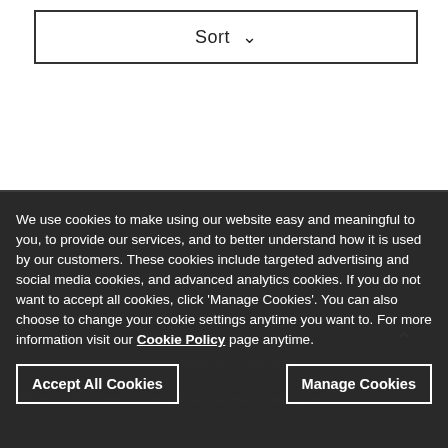Sort ∨
We use cookies to make using our website easy and meaningful to you, to provide our services, and to better understand how it is used by our customers. These cookies include targeted advertising and social media cookies, and advanced analytics cookies. If you do not want to accept all cookies, click 'Manage Cookies'. You can also choose to change your cookie settings anytime you want to. For more information visit our Cookie Policy page anytime.
Accept All Cookies
Manage Cookies